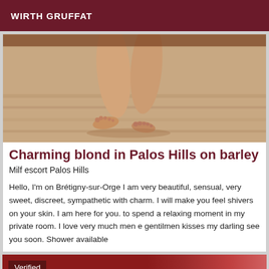WIRTH GRUFFAT
[Figure (photo): Close-up photo of a person's legs and feet on a wooden floor background]
Charming blond in Palos Hills on barley
Milf escort Palos Hills
Hello, I'm on Brétigny-sur-Orge I am very beautiful, sensual, very sweet, discreet, sympathetic with charm. I will make you feel shivers on your skin. I am here for you. to spend a relaxing moment in my private room. I love very much men e gentilmen kisses my darling see you soon. Shower available
[Figure (photo): Photo of a blonde person in a dark red background, with a Verified badge overlay]